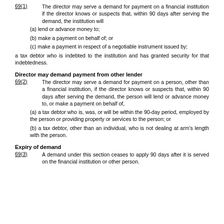69(1)    The director may serve a demand for payment on a financial institution if the director knows or suspects that, within 90 days after serving the demand, the institution will
(a) lend or advance money to;
(b) make a payment on behalf of; or
(c) make a payment in respect of a negotiable instrument issued by;
a tax debtor who is indebted to the institution and has granted security for that indebtedness.
Director may demand payment from other lender
69(2)    The director may serve a demand for payment on a person, other than a financial institution, if the director knows or suspects that, within 90 days after serving the demand, the person will lend or advance money to, or make a payment on behalf of,
(a) a tax debtor who is, was, or will be within the 90-day period, employed by the person or providing property or services to the person; or
(b) a tax debtor, other than an individual, who is not dealing at arm's length with the person.
Expiry of demand
69(3)    A demand under this section ceases to apply 90 days after it is served on the financial institution or other person.